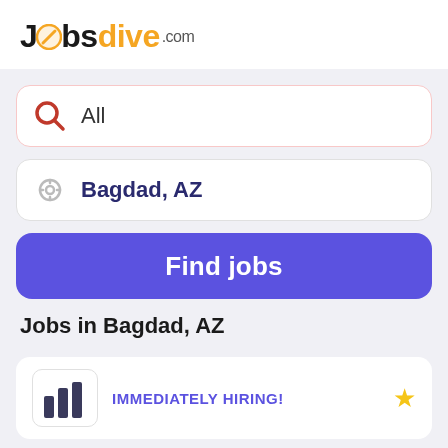[Figure (logo): Jobsdive.com logo with stylized 'o' as a yellow slash, 'Jobs' in black bold, 'dive' in orange/yellow bold, '.com' in gray]
All
Bagdad, AZ
Find jobs
Jobs in Bagdad, AZ
IMMEDIATELY HIRING!